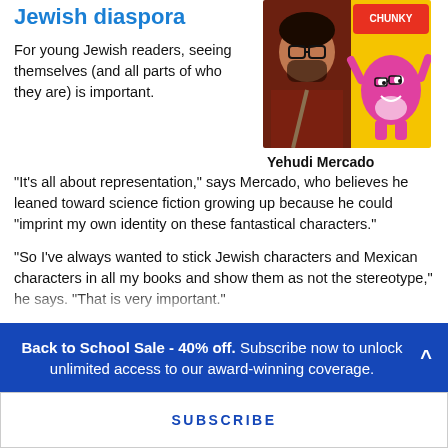Jewish diaspora
For young Jewish readers, seeing themselves (and all parts of who they are) is important.
[Figure (photo): Photo of Yehudi Mercado (man with glasses and beard wearing a dark red shirt) alongside a colorful illustrated book cover featuring a pink cartoon monster character on a yellow background.]
Yehudi Mercado
“It’s all about representation,” says Mercado, who believes he leaned toward science fiction growing up because he could “imprint my own identity on these fantastical characters.”
“So I’ve always wanted to stick Jewish characters and Mexican characters in all my books and show them as not the stereotype,” he says. “That is very important.”
Back to School Sale - 40% off. Subscribe now to unlock unlimited access to our award-winning coverage.
SUBSCRIBE